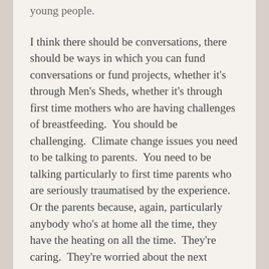young people.
I think there should be conversations, there should be ways in which you can fund conversations or fund projects, whether it's through Men's Sheds, whether it's through first time mothers who are having challenges of breastfeeding.  You should be challenging.  Climate change issues you need to be talking to parents.  You need to be talking particularly to first time parents who are seriously traumatised by the experience.  Or the parents because, again, particularly anybody who's at home all the time, they have the heating on all the time.  They're caring.  They're worried about the next generation and what can be achieved.  That's where you begin.